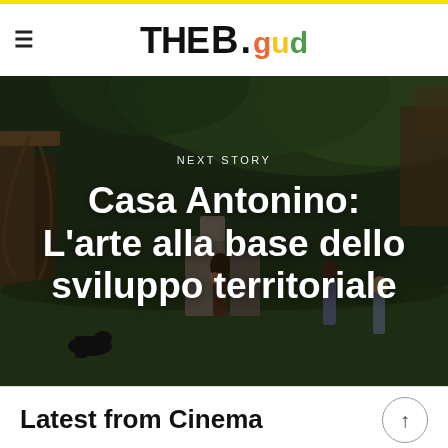THE B.gud
[Figure (photo): Outdoor scene with people walking near rustic wooden structures and green trees. Dark-toned documentary style photograph with text overlay.]
NEXT STORY
Casa Antonino: L'arte alla base dello sviluppo territoriale
Latest from Cinema